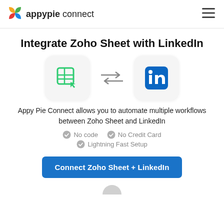appypie connect
Integrate Zoho Sheet with LinkedIn
[Figure (illustration): Two app icons side by side with bidirectional arrows between them. Left icon: Zoho Sheet (green spreadsheet/grid icon with cursor arrow). Right icon: LinkedIn (blue square with white 'in' lettering). Background of each icon is light gray with rounded corners.]
Appy Pie Connect allows you to automate multiple workflows between Zoho Sheet and LinkedIn
No code
No Credit Card
Lightning Fast Setup
Connect Zoho Sheet + LinkedIn